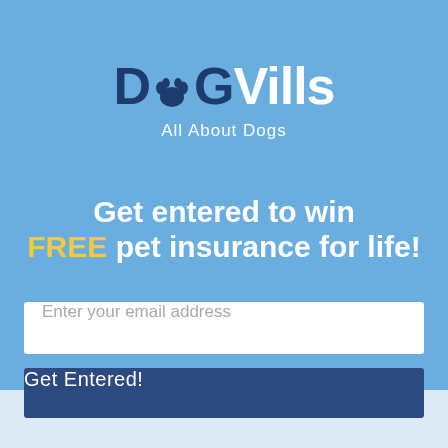[Figure (logo): DogVills logo with paw print replacing the letter 'o', dark navy and white text, tagline 'All About Dogs' in white]
Get entered to win FREE pet insurance for life!
Enter your email address
Get Entered!